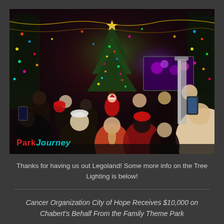[Figure (photo): Night photo of a crowd of people at a Christmas tree lighting event at Legoland, with colorful holiday lights, a large illuminated Christmas tree in the background, people holding up phones to take photos, and trees decorated with Christmas lights. The ParkJourney logo is overlaid in the bottom-left corner of the image.]
Thanks for having us out Legoland! Some more info on the Tree Lighting is below!
Cancer Organization City of Hope Receives $10,000 on Chabert's Behalf From the Family Theme Park